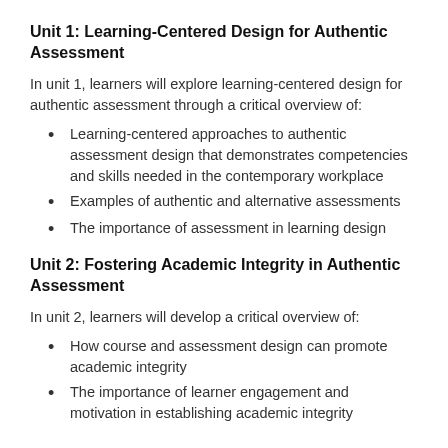Unit 1: Learning-Centered Design for Authentic Assessment
In unit 1, learners will explore learning-centered design for authentic assessment through a critical overview of:
Learning-centered approaches to authentic assessment design that demonstrates competencies and skills needed in the contemporary workplace
Examples of authentic and alternative assessments
The importance of assessment in learning design
Unit 2: Fostering Academic Integrity in Authentic Assessment
In unit 2, learners will develop a critical overview of:
How course and assessment design can promote academic integrity
The importance of learner engagement and motivation in establishing academic integrity